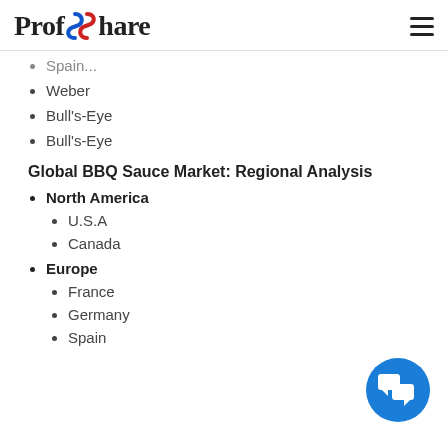ProfShare
Spain (partial, truncated at top)
Weber
Bull's-Eye
Bull's-Eye
Global BBQ Sauce Market: Regional Analysis
North America
U.S.A
Canada
Europe
France
Germany
Spain